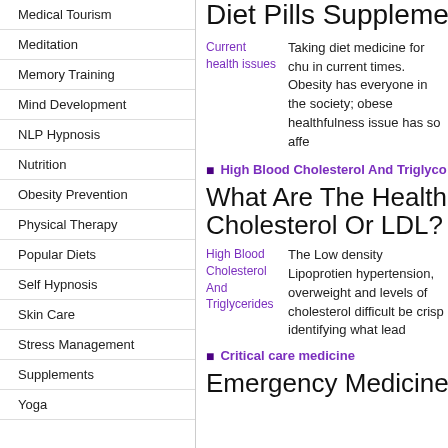Medical Tourism
Meditation
Memory Training
Mind Development
NLP Hypnosis
Nutrition
Obesity Prevention
Physical Therapy
Popular Diets
Self Hypnosis
Skin Care
Stress Management
Supplements
Yoga
Diet Pills Supplements-Fo
[Figure (photo): Current health issues image placeholder with link text]
Taking diet medicine for chu in current times. Obesity has everyone in the society; obese healthfulness issue has so affe
High Blood Cholesterol And Triglyco
What Are The Health Effe Cholesterol Or LDL?
[Figure (photo): High Blood Cholesterol And Triglycerides image placeholder with link text]
The Low density Lipoprotien hypertension, overweight and levels of cholesterol difficult be crisp identifying what lead
Critical care medicine
Emergency Medicine This